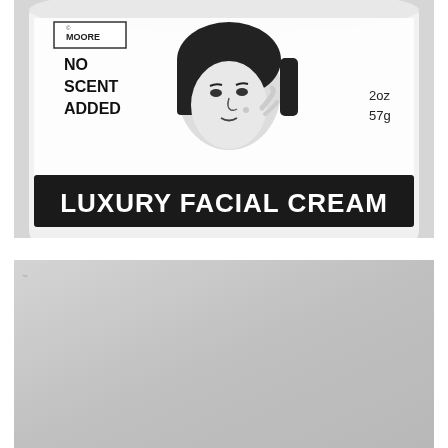[Figure (photo): Close-up photo of a white cylindrical cream jar with a product label. The label shows 'MOORE' brand name at top left, 'NO SCENT ADDED' text on the left side, an illustration of a woman's face in the center, '2oz / 57g' on the right, and a black banner across the bottom reading 'LUXURY FACIAL CREAM' in large white letters.]
[Figure (photo): Photo of the bottom or side of the same white cream jar, showing a plain light gray/white surface with a small icon or mark visible in the top left corner.]